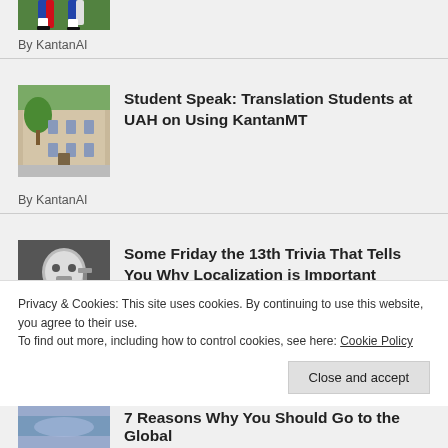[Figure (photo): Cropped top of a soccer/football image showing players legs on a green field]
By KantanAI
[Figure (photo): Photo of a large historic stone building with trees]
Student Speak: Translation Students at UAH on Using KantanMT
By KantanAI
[Figure (photo): Photo of a person in a hockey mask holding a weapon (Friday the 13th)]
Some Friday the 13th Trivia That Tells You Why Localization is Important
Privacy & Cookies: This site uses cookies. By continuing to use this website, you agree to their use.
To find out more, including how to control cookies, see here: Cookie Policy
Close and accept
7 Reasons Why You Should Go to the Global